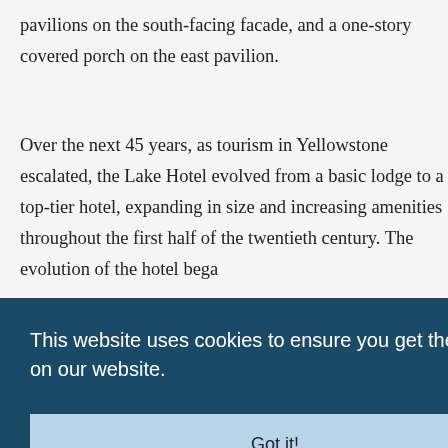pavilions on the south-facing facade, and a one-story covered porch on the east pavilion.
Over the next 45 years, as tourism in Yellowstone escalated, the Lake Hotel evolved from a basic lodge to a top-tier hotel, expanding in size and increasing amenities throughout the first half of the twentieth century. The evolution of the hotel bega...
This website uses cookies to ensure you get the best experience on our website.
Got it!